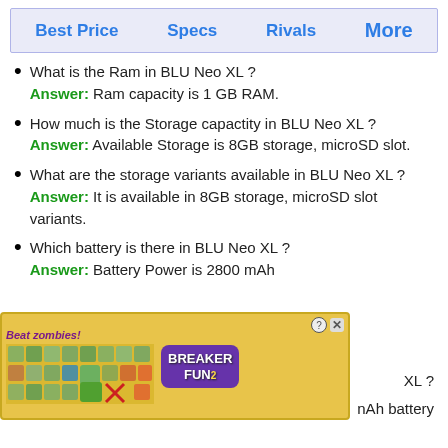Best Price   Specs   Rivals   More
What is the Ram in BLU Neo XL ? Answer: Ram capacity is 1 GB RAM.
How much is the Storage capactity in BLU Neo XL ? Answer: Available Storage is 8GB storage, microSD slot.
What are the storage variants available in BLU Neo XL ? Answer: It is available in 8GB storage, microSD slot variants.
Which battery is there in BLU Neo XL ? Answer: Battery Power is 2800 mAh
... XL ? ...nAh battery
[Figure (screenshot): Advertisement banner: Beat zombies! game ad for Breaker Fun 2, showing zombie grid characters, with close (X) and help (?) buttons.]